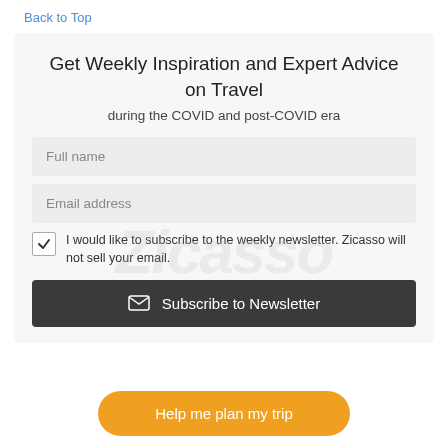Back to Top
Get Weekly Inspiration and Expert Advice on Travel
during the COVID and post-COVID era
Full name
Email address
I would like to subscribe to the weekly newsletter. Zicasso will not sell your email.
Subscribe to Newsletter
Help me plan my trip